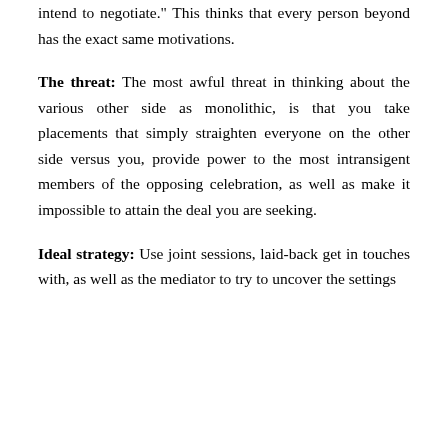intend to negotiate." This thinks that every person beyond has the exact same motivations.
The threat: The most awful threat in thinking about the various other side as monolithic, is that you take placements that simply straighten everyone on the other side versus you, provide power to the most intransigent members of the opposing celebration, as well as make it impossible to attain the deal you are seeking.
Ideal strategy: Use joint sessions, laid-back get in touches with, as well as the mediator to try to uncover the settings